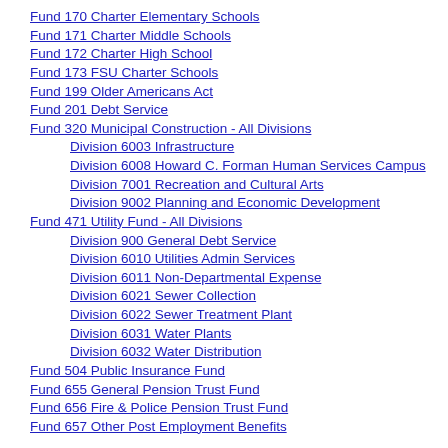Fund 170 Charter Elementary Schools
Fund 171 Charter Middle Schools
Fund 172 Charter High School
Fund 173 FSU Charter Schools
Fund 199 Older Americans Act
Fund 201 Debt Service
Fund 320 Municipal Construction - All Divisions
Division 6003 Infrastructure
Division 6008 Howard C. Forman Human Services Campus
Division 7001 Recreation and Cultural Arts
Division 9002 Planning and Economic Development
Fund 471 Utility Fund - All Divisions
Division 900 General Debt Service
Division 6010 Utilities Admin Services
Division 6011 Non-Departmental Expense
Division 6021 Sewer Collection
Division 6022 Sewer Treatment Plant
Division 6031 Water Plants
Division 6032 Water Distribution
Fund 504 Public Insurance Fund
Fund 655 General Pension Trust Fund
Fund 656 Fire & Police Pension Trust Fund
Fund 657 Other Post Employment Benefits